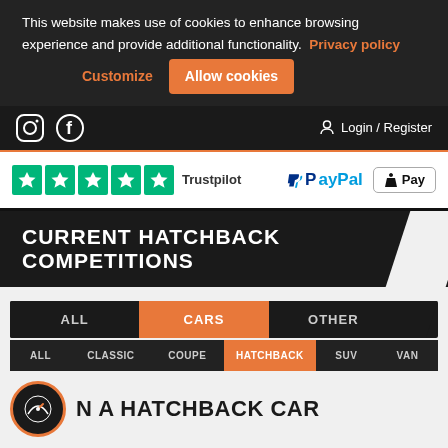This website makes use of cookies to enhance browsing experience and provide additional functionality. Privacy policy
Customize  Allow cookies
Login / Register
[Figure (logo): Trustpilot 5-star rating logo with green stars]
[Figure (logo): PayPal logo]
[Figure (logo): Apple Pay logo]
CURRENT HATCHBACK COMPETITIONS
ALL
CARS
OTHER
ALL
CLASSIC
COUPE
HATCHBACK
SUV
VAN
N A HATCHBACK CAR